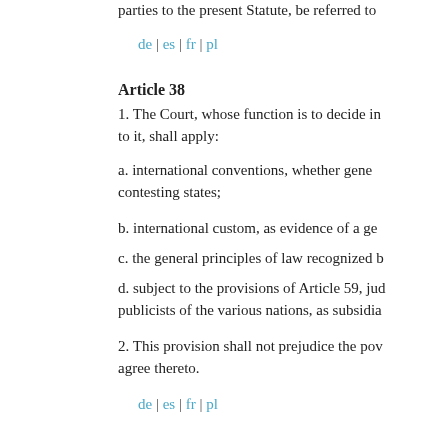parties to the present Statute, be referred to
de | es | fr | pl
Article 38
1. The Court, whose function is to decide in accordance with international law such disputes as are submitted to it, shall apply:
a. international conventions, whether general or particular, establishing rules expressly recognized by the contesting states;
b. international custom, as evidence of a general practice accepted as law;
c. the general principles of law recognized by civilized nations;
d. subject to the provisions of Article 59, judicial decisions and the teachings of the most highly qualified publicists of the various nations, as subsidiary means for the determination of rules of law.
2. This provision shall not prejudice the power of the Court to decide a case ex aequo et bono, if the parties agree thereto.
de | es | fr | pl
Article 39
1. The official languages of the Court shall be French and English. If the proceedings are conducted in French, the judgment shall be delivered in French. If the proceedings are conducted in English, the judgment shall be delivered in English.
2. In the absence of an agreement as to which language is to be employed, each party may use the language which it prefers; the decision of the Court shall be given in French and in English.